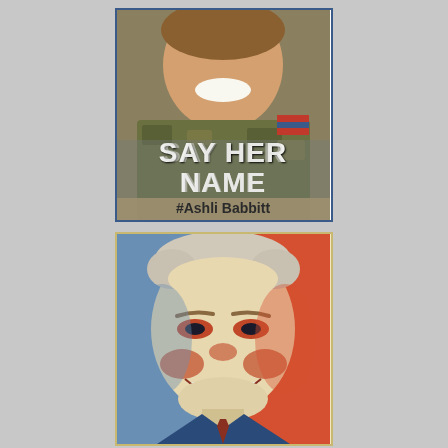[Figure (photo): Poster-style image of a smiling woman in military uniform with text 'SAY HER NAME' and '#Ashli Babbitt' overlaid, framed with a blue border on white background]
[Figure (photo): Pop-art style portrait of a smiling older man (Joe Biden style) in blue, red, and cream tones, framed with a tan/yellow border]